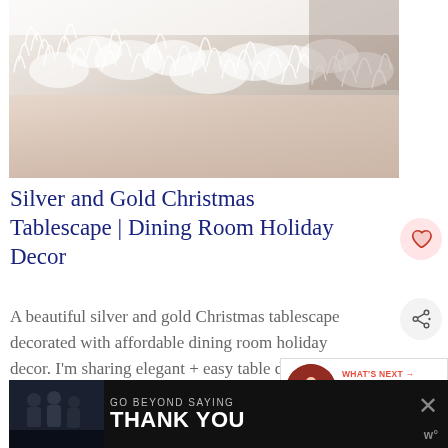[Figure (photo): Close-up photo of white fluffy fur fabric or trim, with a pinkish/beige background visible at the bottom suggesting a dining table scene]
Silver and Gold Christmas Tablescape | Dining Room Holiday Decor
A beautiful silver and gold Christmas tablescape decorated with affordable dining room holiday decor. I'm sharing elegant + easy table decor options for
[Figure (infographic): WHAT'S NEXT → Meet the Joneses panel with circular thumbnail photo]
[Figure (infographic): Advertisement banner: GO BEYOND SAYING THANK YOU - Operation Gratitude JOIN US]